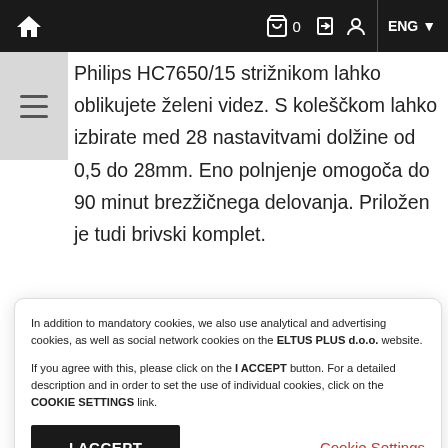🏠  🛒 0  ⬛ 👤  ENG
Philips HC7650/15 strižnikom lahko oblikujete želeni videz. S koleščkom lahko izbirate med 28 nastavitvami dolžine od 0,5 do 28mm. Eno polnjenje omogoča do 90 minut brezžičnega delovanja. Priložen je tudi brivski komplet.
In addition to mandatory cookies, we also use analytical and advertising cookies, as well as social network cookies on the ELTUS PLUS d.o.o. website.
If you agree with this, please click on the I ACCEPT button. For a detailed description and in order to set the use of individual cookies, click on the COOKIE SETTINGS link.
I ACCEPT
Cookie Settings
Price